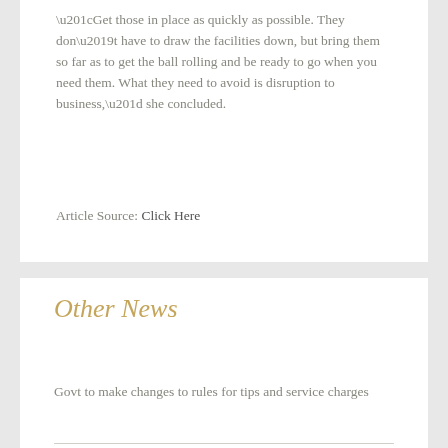“Get those in place as quickly as possible. They don’t have to draw the facilities down, but bring them so far as to get the ball rolling and be ready to go when you need them. What they need to avoid is disruption to business,” she concluded.
Article Source: Click Here
Other News
Govt to make changes to rules for tips and service charges